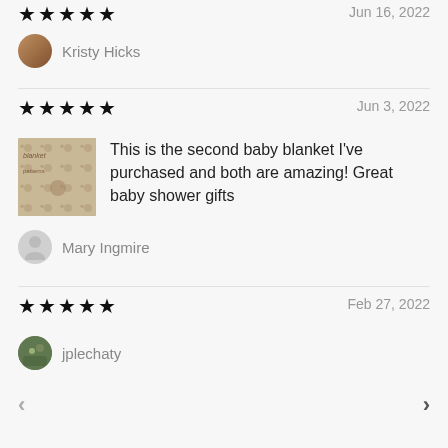★★★★★ Jun 16, 2022 (partially visible at top)
Kristy Hicks
★★★★★ Jun 3, 2022
This is the second baby blanket I've purchased and both are amazing! Great baby shower gifts
Mary Ingmire
★★★★★ Feb 27, 2022
jplechaty